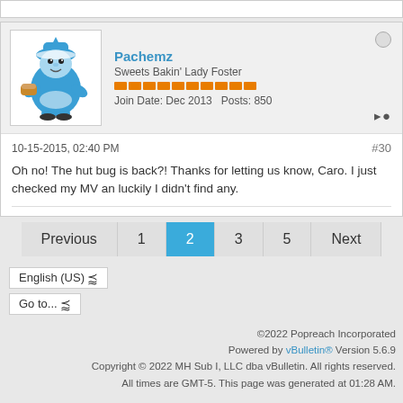Pachemz
Sweets Bakin' Lady Foster
Join Date: Dec 2013  Posts: 850
10-15-2015, 02:40 PM
#30
Oh no! The hut bug is back?! Thanks for letting us know, Caro. I just checked my MV an luckily I didn't find any.
Previous  1  2  3  5  Next
English (US)
Go to...
©2022 Popreach Incorporated
Powered by vBulletin® Version 5.6.9
Copyright © 2022 MH Sub I, LLC dba vBulletin. All rights reserved.
All times are GMT-5. This page was generated at 01:28 AM.